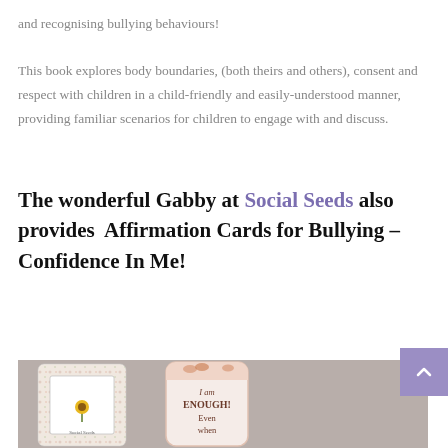and recognising bullying behaviours! This book explores body boundaries, (both theirs and others), consent and respect with children in a child-friendly and easily-understood manner, providing familiar scenarios for children to engage with and discuss.
The wonderful Gabby at Social Seeds also provides  Affirmation Cards for Bullying – Confidence In Me!
[Figure (photo): Two affirmation cards: one card with a floral/ditsy print cover with a sunflower illustration and 'Social Seeds' branding visible, and one card showing 'I am ENOUGH! Even when' text on a pink/mauve background with butterfly decorations at the top.]